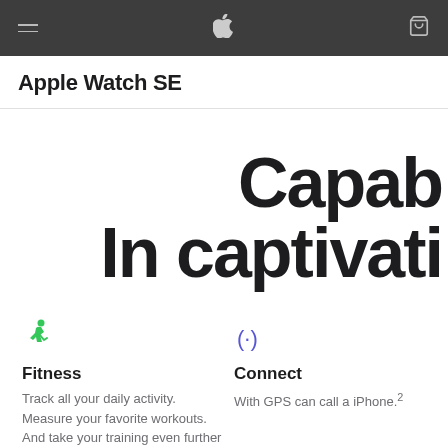Apple (navigation bar with hamburger menu, Apple logo, and bag icon)
Apple Watch SE
Capable. In captivating
Fitness
Track all your daily activity. Measure your favorite workouts. And take your training even further with Apple Fitness+.1
Connect
With GPS can call a iPhone.2